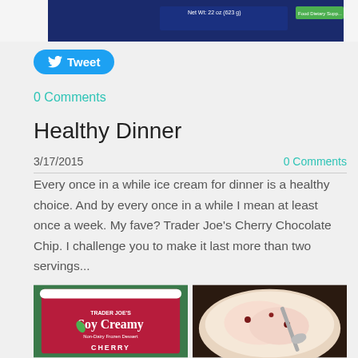[Figure (photo): Top portion of a product container (dark blue, supplement jar) on a light background]
[Figure (other): Twitter Tweet button (blue rounded rectangle with bird icon and 'Tweet' text)]
0 Comments
Healthy Dinner
3/17/2015
0 Comments
Every once in a while ice cream for dinner is a healthy choice. And by every once in a while I mean at least once a week. My fave? Trader Joe's Cherry Chocolate Chip. I challenge you to make it last more than two servings...
[Figure (photo): Red Trader Joe's Soy Creamy Non-Dairy Frozen Dessert Cherry container]
[Figure (photo): Bowl of cherry chocolate chip ice cream with a spoon]